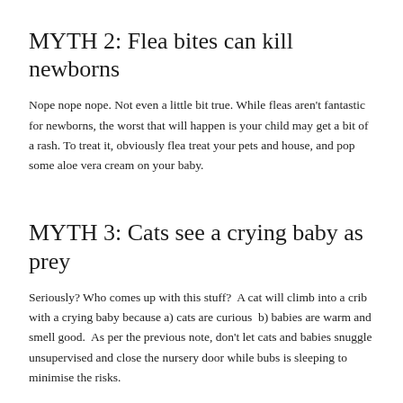MYTH 2: Flea bites can kill newborns
Nope nope nope. Not even a little bit true. While fleas aren't fantastic for newborns, the worst that will happen is your child may get a bit of a rash. To treat it, obviously flea treat your pets and house, and pop some aloe vera cream on your baby.
MYTH 3: Cats see a crying baby as prey
Seriously? Who comes up with this stuff?  A cat will climb into a crib with a crying baby because a) cats are curious  b) babies are warm and smell good.  As per the previous note, don't let cats and babies snuggle unsupervised and close the nursery door while bubs is sleeping to minimise the risks.